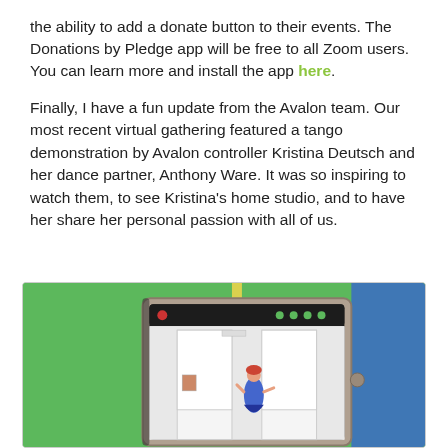the ability to add a donate button to their events. The Donations by Pledge app will be free to all Zoom users. You can learn more and install the app here.
Finally, I have a fun update from the Avalon team. Our most recent virtual gathering featured a tango demonstration by Avalon controller Kristina Deutsch and her dance partner, Anthony Ware. It was so inspiring to watch them, to see Kristina's home studio, and to have her share her personal passion with all of us.
[Figure (photo): A tablet on a green and blue background showing a Zoom video call with a person dancing in a white studio room.]